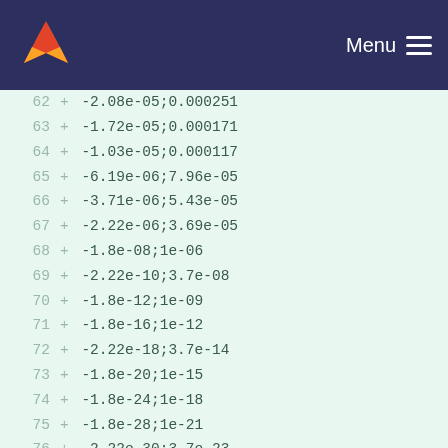Menu
62  + -2.08e-05;0.000251
63  + -1.72e-05;0.000171
64  + -1.03e-05;0.000117
65  + -6.19e-06;7.96e-05
66  + -3.71e-06;5.43e-05
67  + -2.22e-06;3.69e-05
68  + -1.8e-08;1e-06
69  + -2.22e-10;3.7e-08
70  + -1.8e-12;1e-09
71  + -1.8e-16;1e-12
72  + -2.22e-18;3.7e-14
73  + -1.8e-20;1e-15
74  + -1.8e-24;1e-18
75  + -1.8e-28;1e-21
76  + -2.22e-30;3.7e-23
77  + -1.8e-32;1e-24
78  + -1.8e-36;1e-27
79  + -1.8e-40;1e-30
80  + -1.8e-44;1e-33
81  + -2.22e-46;3.7e-35